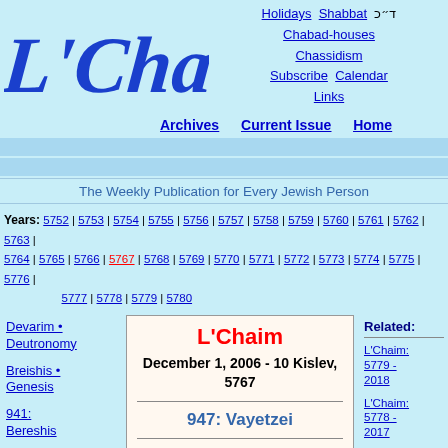[Figure (logo): L'Chaim logo in blue cursive script]
Holidays  Shabbat  [Hebrew text]
Chabad-houses
Chassidism
Subscribe  Calendar
Links
Archives  Current Issue  Home
The Weekly Publication for Every Jewish Person
Years: 5752 | 5753 | 5754 | 5755 | 5756 | 5757 | 5758 | 5759 | 5760 | 5761 | 5762 | 5763 | 5764 | 5765 | 5766 | 5767 | 5768 | 5769 | 5770 | 5771 | 5772 | 5773 | 5774 | 5775 | 5776 | 5777 | 5778 | 5779 | 5780
Devarim • Deutronomy
Breishis • Genesis
941: Bereshis
942: Noach
943: Lech-
L'Chaim
December 1, 2006 - 10 Kislev, 5767
947: Vayetzei
Click here to Subscribe
Published and copyright © by Lubavitch Youth Organization - Brooklyn, NY
The Weekly Publication For Every Jewish Person
Dedicated to the memory of Rebbetzin Chaya Mushka Schneerson N.E.
Related:
L'Chaim: 5779 - 2018
L'Chaim: 5778 - 2017
L'Chaim: 5777 - 2016
L'Chaim: 5776 -